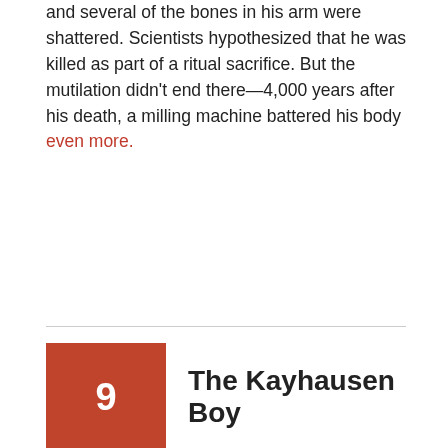and several of the bones in his arm were shattered. Scientists hypothesized that he was killed as part of a ritual sacrifice. But the mutilation didn't end there—4,000 years after his death, a milling machine battered his body even more.
9  The Kayhausen Boy
[Figure (photo): A hand holding a bloody knife against a black background, with a gray reflection area at the bottom.]